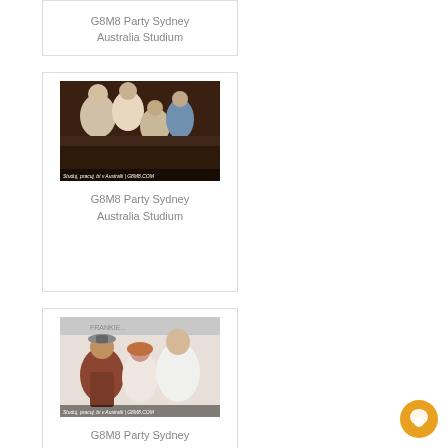G8M8 Party Sydney Australia Studium
[Figure (photo): Group of people at a party, dark venue, with watermark 'Studuj, pracuj, bi v Australii | G8M8.COM']
G8M8 Party Sydney Australia Studium
[Figure (photo): Group of people at an event, bright venue, with watermark 'Studuj, pracuj, bi v Australii | G8M8.COM']
G8M8 Party Sydney Australia Studium